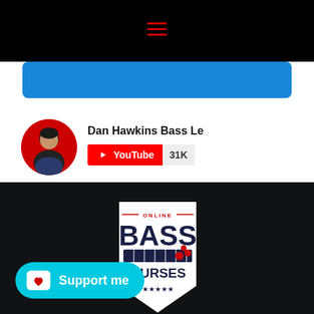[Figure (screenshot): Website screenshot showing a navigation bar with hamburger menu icon in red, a blue banner, a YouTube channel widget for 'Dan Hawkins Bass Le...' with 31K subscribers, an Online Bass Courses logo badge on a dark background, and a cyan 'Support me' Ko-fi button.]
Dan Hawkins Bass Le
YouTube 31K
[Figure (logo): Online Bass Courses shield/badge logo with red 'ONLINE' text at top, large dark blue 'BASS' text, bass guitar graphic, 'COURSES' text, and star rating at bottom on white shield background.]
Support me